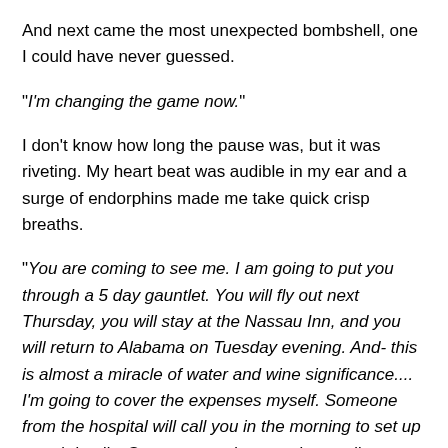And next came the most unexpected bombshell, one I could have never guessed.
"I'm changing the game now."
I don't know how long the pause was, but it was riveting. My heart beat was audible in my ear and a surge of endorphins made me take quick crisp breaths.
"You are coming to see me. I am going to put you through a 5 day gauntlet. You will fly out next Thursday, you will stay at the Nassau Inn, and you will return to Alabama on Tuesday evening. And- this is almost a miracle of water and wine significance.... I'm going to cover the expenses myself. Someone from the hospital will call you in the morning to set up travel details. So you are going to at least tell your wife now that you have broken through and will personally proselytize the infamous House." click